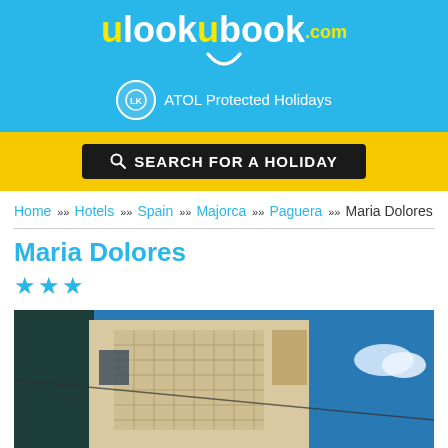[Figure (logo): ulookubook.com logo with smiley face on blue background, ATOL Protected Holidays badge]
SEARCH FOR A HOLIDAY
Home » Hotels » Spain » Majorca » Paguera » Maria Dolores
Maria Dolores
★★★ (3 star rating)
[Figure (photo): Exterior photo of Maria Dolores hotel building with blue sky background]